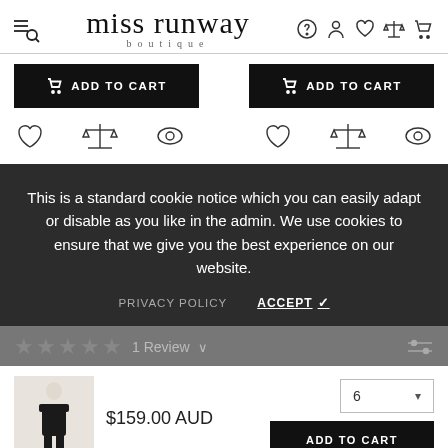[Figure (logo): Miss Runway Boutique logo with hamburger/search icon on left and navigation icons on right]
[Figure (screenshot): Two black ADD TO CART buttons side by side with cart icon]
[Figure (screenshot): Two groups of icons: heart, scales, eye for each product]
This is a standard cookie notice which you can easily adapt or disable as you like in the admin. We use cookies to ensure that we give you the best experience on our website.
PRIVACY POLICY    ACCEPT ✓
1 Review
$159.00 AUD
[Figure (photo): Small thumbnail of woman in black off-shoulder dress]
6    ADD TO CART